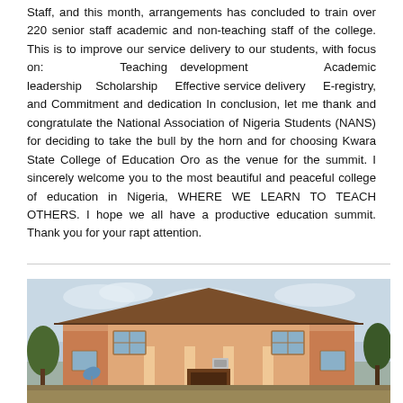Staff, and this month, arrangements has concluded to train over 220 senior staff academic and non-teaching staff of the college. This is to improve our service delivery to our students, with focus on: Teaching development Academic leadership Scholarship Effective service delivery E-registry, and Commitment and dedication In conclusion, let me thank and congratulate the National Association of Nigeria Students (NANS) for deciding to take the bull by the horn and for choosing Kwara State College of Education Oro as the venue for the summit. I sincerely welcome you to the most beautiful and peaceful college of education in Nigeria, WHERE WE LEARN TO TEACH OTHERS. I hope we all have a productive education summit. Thank you for your rapt attention.
[Figure (photo): Photograph of a two-storey orange/tan college building with a sloped brown roof, columns at the entrance, windows, a satellite dish on the left side, and trees/sky in the background.]